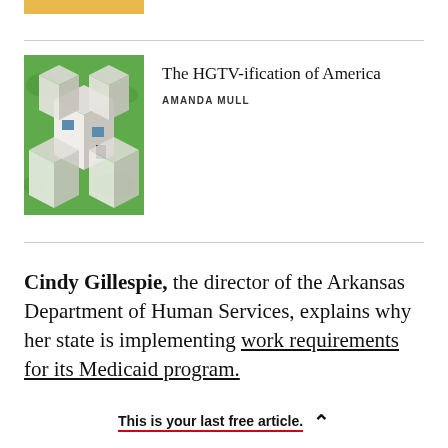[Figure (illustration): Partial thumbnail of article image — yellow/orange bar at top left, clipped]
[Figure (photo): Isometric illustration of suburban houses with green lawns, white house in center]
The HGTV-ification of America
AMANDA MULL
Cindy Gillespie, the director of the Arkansas Department of Human Services, explains why her state is implementing work requirements for its Medicaid program.
Partially cut-off text at bottom
This is your last free article.